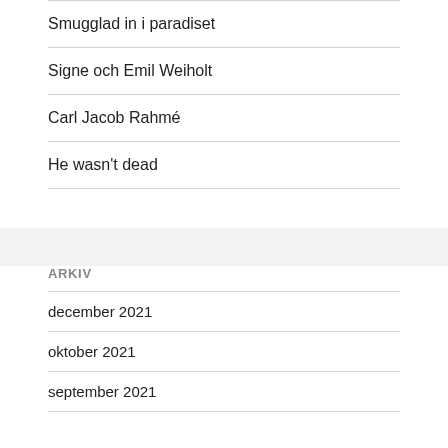Smugglad in i paradiset
Signe och Emil Weiholt
Carl Jacob Rahmé
He wasn't dead
ARKIV
december 2021
oktober 2021
september 2021